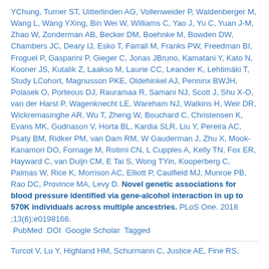YChung, Turner ST, Uitterlinden AG, Vollenweider P, Waldenberger M, Wang L, Wang YXing, Bin Wei W, Williams C, Yao J, Yu C, Yuan J-M, Zhao W, Zonderman AB, Becker DM, Boehnke M, Bowden DW, Chambers JC, Deary IJ, Esko T, Farrall M, Franks PW, Freedman BI, Froguel P, Gasparini P, Gieger C, Jonas JBruno, Kamatani Y, Kato N, Kooner JS, Kutalik Z, Laakso M, Laurie CC, Leander K, Lehtimäki T, Study LCohort, Magnusson PKE, Oldehinkel AJ, Penninx BWJH, Polasek O, Porteous DJ, Rauramaa R, Samani NJ, Scott J, Shu X-O, van der Harst P, Wagenknecht LE, Wareham NJ, Watkins H, Weir DR, Wickremasinghe AR, Wu T, Zheng W, Bouchard C, Christensen K, Evans MK, Gudnason V, Horta BL, Kardia SLR, Liu Y, Pereira AC, Psaty BM, Ridker PM, van Dam RM, W Gauderman J, Zhu X, Mook-Kanamori DO, Fornage M, Rotimi CN, L Cupples A, Kelly TN, Fox ER, Hayward C, van Duijn CM, E Tai S, Wong TYin, Kooperberg C, Palmas W, Rice K, Morrison AC, Elliott P, Caulfield MJ, Munroe PB, Rao DC, Province MA, Levy D. Novel genetic associations for blood pressure identified via gene-alcohol interaction in up to 570K individuals across multiple ancestries. PLoS One. 2018 ;13(6):e0198166. PubMed DOI Google Scholar Tagged
Turcot V, Lu Y, Highland HM, Schurmann C, Justice AE, Fine RS...